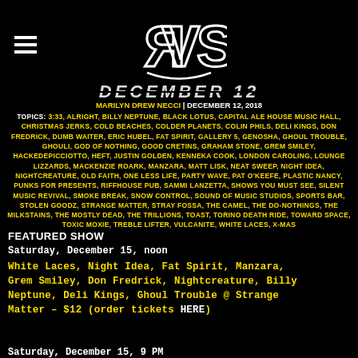[Figure (logo): RVS logo in white stylized letters on black background]
DECEMBER 12
MARILYN DREW NECCI | DECEMBER 12, 2018
TOPICS: 3:33, ALRIGHT, BILLY NEPTUNE, BLACK LOTUS, CAPITAL ALE HOUSE MUSIC HALL, CHRISTMAS JERKS, COLD BEACHES, COLDER PLANETS, COLIN PHILS, DELI KINGS, DON FREDRICK, DUMB WAITER, ERIC HUBEL, FAT SPIRIT, GALLERY 5, GENOSHA, GHOUL TROUBLE, GHOULI, GOD OF NOTHING, GOOD CRETINS, GRAHAM STONE, GREM SMILEY, HACKEDEPICCIOTTO, HEFT, JUSTIN GOLDEN, KENNEKA COOK, LONDON CAROLING, LOUNGE LIZZARDS, MACKENZIE ROARK, MANZARA, MATT LISK, NEAT SWEEP, NIGHT IDEA, NIGHTCREATURE, OLD FAITH, ONE LESS LIFE, PARTY WAVE, PAT O'KEEFE, PLASTIC NANCY, PUNKS FOR PRESENTS, RIFFHOUSE PUB, SAMMI LANZETTA, SHOWS YOU MUST SEE, SILENT MUSIC REVIVAL, SMOKE BREAK, SNOW CONTROL, SOUND OF MUSIC STUDIOS, SPORTS BAR, STOLEN GOODZ, STRANGE MATTER, STRAY FOSSA, THE CAMEL, THE DO-NOTHINGS, THE MILKSTAINS, THE MOSTLY DEAD, THE TRILLIONS, TOAST, TORINO DEATH RIDE, TOWARD SPACE, TOXIC MOXIE, TREBLE LIFTER, VULCANITE, WHITE LACES, X-MAS
FEATURED SHOW
Saturday, December 15, noon
White Laces, Night Idea, Fat Spirit, Manzara, Grem Smiley, Don Fredrick, Nightcreature, Billy Neptune, Deli Kings, Ghoul Trouble @ Strange Matter – $12 (order tickets HERE)
Saturday, December 15, 9 PM